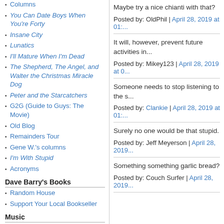Columns
You Can Date Boys When You're Forty
Insane City
Lunatics
I'll Mature When I'm Dead
The Shepherd, The Angel, and Walter the Christmas Miracle Dog
Peter and the Starcatchers
G2G (Guide to Guys: The Movie)
Old Blog
Remainders Tour
Gene W.'s columns
I'm With Stupid
Acronyms
Dave Barry's Books
Random House
Support Your Local Bookseller
Music
Maybe try a nice chianti with that?
Posted by: OldPhil | April 28, 2019 at 01:...
It will, however, prevent future activities in...
Posted by: Mikey123 | April 28, 2019 at 0...
Someone needs to stop listening to the s...
Posted by: Clankie | April 28, 2019 at 01:...
Surely no one would be that stupid.
Posted by: Jeff Meyerson | April 28, 2019...
Something something garlic bread?
Posted by: Couch Surfer | April 28, 2019...